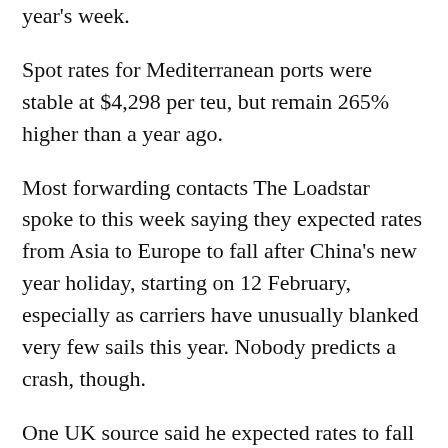year's week.
Spot rates for Mediterranean ports were stable at $4,298 per teu, but remain 265% higher than a year ago.
Most forwarding contacts The Loadstar spoke to this week saying they expected rates from Asia to Europe to fall after China's new year holiday, starting on 12 February, especially as carriers have unusually blanked very few sails this year. Nobody predicts a crash, though.
One UK source said he expected rates to fall “slightly below $10,000” for 40ft after CNY, but didn’t think the market would see “all 2021 below $6,000.”